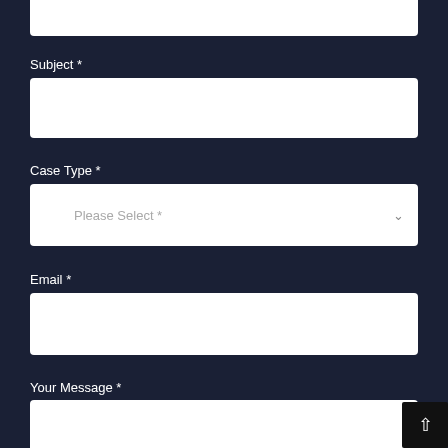[Figure (screenshot): Partial input box at top of page, cut off]
Subject *
[Figure (screenshot): Text input field for Subject]
Case Type *
[Figure (screenshot): Dropdown select field with placeholder 'Please Select *']
Email *
[Figure (screenshot): Text input field for Email]
Your Message *
[Figure (screenshot): Text area input for Your Message, partially visible]